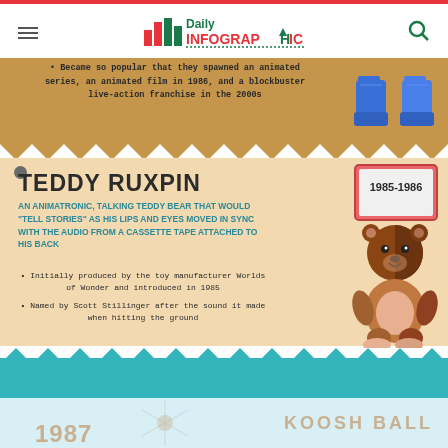Daily Infographic
Became so popular that they spawned an animated series, an animated film in 1986, and a blockbuster live-action franchise in the 2000s
[Figure (illustration): Two blue toy boots/shoes side by side]
TEDDY RUXPIN
AN ANIMATRONIC, TALKING TEDDY BEAR THAT WOULD "TELL STORIES" AS HIS LIPS AND EYES MOVED IN SYNC WITH THE AUDIO FROM A CASSETTE TAPE ATTACHED TO HIS BACK
Initially produced by the toy manufacturer Worlds of Wonder and introduced in 1985
Named by Scott Stillinger after the sound it made when hitting the ground
[Figure (illustration): Teddy Ruxpin animatronic bear with date badge 1985-1986]
KOOSH BALL
1987